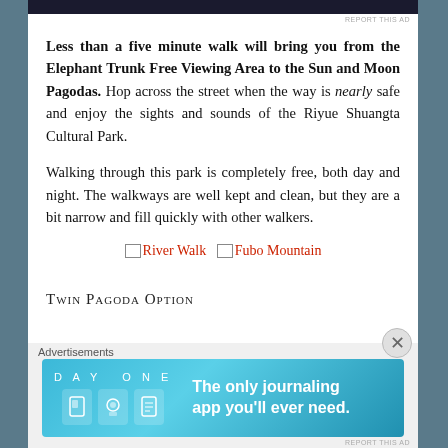Less than a five minute walk will bring you from the Elephant Trunk Free Viewing Area to the Sun and Moon Pagodas. Hop across the street when the way is nearly safe and enjoy the sights and sounds of the Riyue Shuangta Cultural Park.
Walking through this park is completely free, both day and night. The walkways are well kept and clean, but they are a bit narrow and fill quickly with other walkers.
[Figure (other): Link icons for River Walk and Fubo Mountain with broken image placeholders]
Twin Pagoda Option
Advertisements
[Figure (other): Day One journaling app advertisement banner with blue gradient background, DAY ONE wordmark, icons, and tagline: The only journaling app you'll ever need.]